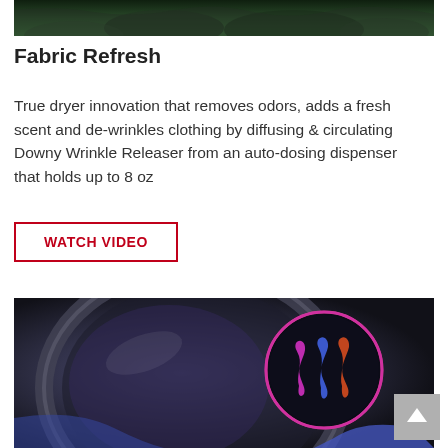[Figure (photo): Top portion of a quilted green jacket or garment, cropped at the top of the page]
Fabric Refresh
True dryer innovation that removes odors, adds a fresh scent and de-wrinkles clothing by diffusing & circulating Downy Wrinkle Releaser from an auto-dosing dispenser that holds up to 8 oz
WATCH VIDEO
[Figure (photo): Close-up photo of a dryer drum interior with a circular logo overlay showing three stylized flame/wave shapes in pink, blue, and orange/red neon colors on a dark background, with a person's hand in blue clothing visible in the lower right]